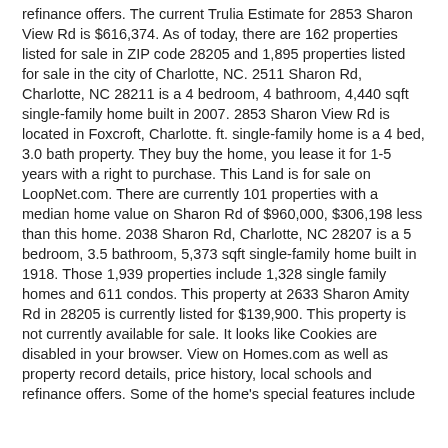refinance offers. The current Trulia Estimate for 2853 Sharon View Rd is $616,374. As of today, there are 162 properties listed for sale in ZIP code 28205 and 1,895 properties listed for sale in the city of Charlotte, NC. 2511 Sharon Rd, Charlotte, NC 28211 is a 4 bedroom, 4 bathroom, 4,440 sqft single-family home built in 2007. 2853 Sharon View Rd is located in Foxcroft, Charlotte. ft. single-family home is a 4 bed, 3.0 bath property. They buy the home, you lease it for 1-5 years with a right to purchase. This Land is for sale on LoopNet.com. There are currently 101 properties with a median home value on Sharon Rd of $960,000, $306,198 less than this home. 2038 Sharon Rd, Charlotte, NC 28207 is a 5 bedroom, 3.5 bathroom, 5,373 sqft single-family home built in 1918. Those 1,939 properties include 1,328 single family homes and 611 condos. This property at 2633 Sharon Amity Rd in 28205 is currently listed for $139,900. This property is not currently available for sale. It looks like Cookies are disabled in your browser. View on Homes.com as well as property record details, price history, local schools and refinance offers. Some of the home's special features include